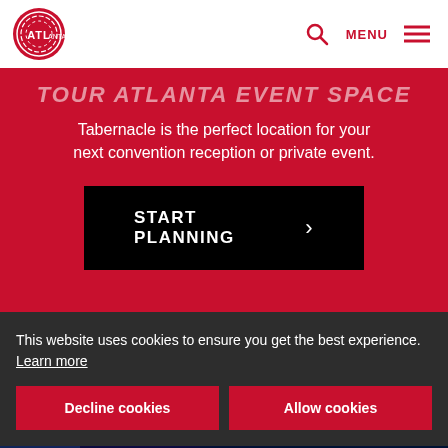[Figure (logo): Atlanta convention & visitors bureau logo — circular red swirl with ATL text]
MENU
TOUR ATLANTA EVENT SPACE
Tabernacle is the perfect location for your next convention reception or private event.
START PLANNING
[Figure (photo): Interior of the Tabernacle event venue with colorful purple and blue stage lighting]
This website uses cookies to ensure you get the best experience. Learn more
Decline cookies
Allow cookies